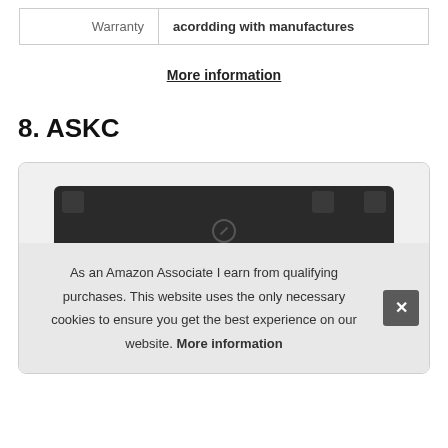| Warranty | acordding with manufactures |
More information
8. ASKC
[Figure (photo): Product photo of a laptop battery (ASKC brand), flat rectangular black battery pack with mounting tabs, with a cookie consent banner overlay at the bottom reading: As an Amazon Associate I earn from qualifying purchases. This website uses the only necessary cookies to ensure you get the best experience on our website. More information]